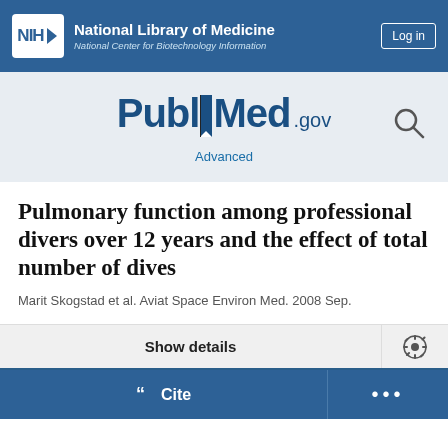NIH National Library of Medicine, National Center for Biotechnology Information | Log in
[Figure (logo): PubMed.gov logo with bookmark icon and search icon, Advanced link below]
Pulmonary function among professional divers over 12 years and the effect of total number of dives
Marit Skogstad et al. Aviat Space Environ Med. 2008 Sep.
Show details
Cite | ...